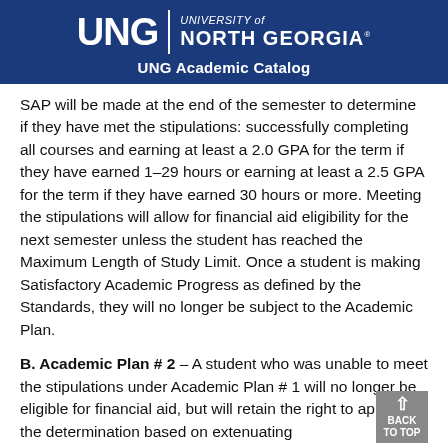UNG | UNIVERSITY of NORTH GEORGIA® UNG Academic Catalog
SAP will be made at the end of the semester to determine if they have met the stipulations: successfully completing all courses and earning at least a 2.0 GPA for the term if they have earned 1–29 hours or earning at least a 2.5 GPA for the term if they have earned 30 hours or more. Meeting the stipulations will allow for financial aid eligibility for the next semester unless the student has reached the Maximum Length of Study Limit. Once a student is making Satisfactory Academic Progress as defined by the Standards, they will no longer be subject to the Academic Plan.
B. Academic Plan # 2 – A student who was unable to meet the stipulations under Academic Plan # 1 will no longer be eligible for financial aid, but will retain the right to appeal the determination based on extenuating